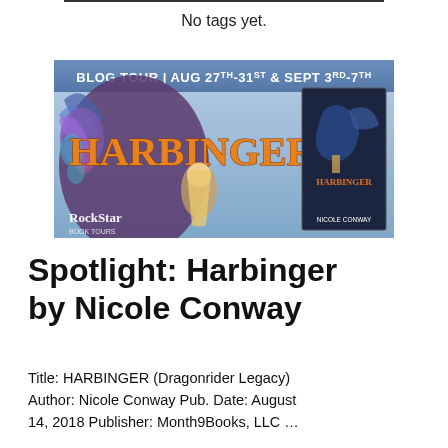No tags yet.
[Figure (illustration): Blog tour banner for Harbinger by Nicole Conway. Banner reads: BLOG TOUR | AUG 27th-31st & SEPT 3rd-7th. Shows the word HARBINGER in large fantasy lettering over a fantasy scene with a dragon and a female character. Book cover thumbnail on the right shows a dragon rider. RockStar Book Tours logo in bottom left. Author name Nicole Conway at bottom right.]
Spotlight: Harbinger by Nicole Conway
Title: HARBINGER (Dragonrider Legacy) Author: Nicole Conway Pub. Date: August 14, 2018 Publisher: Month9Books, LLC …